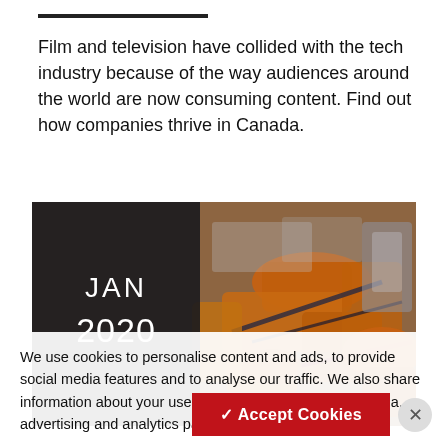Film and television have collided with the tech industry because of the way audiences around the world are now consuming content. Find out how companies thrive in Canada.
[Figure (photo): Industrial robotic arms in a manufacturing facility, orange/metal machinery, with a dark overlay on the left showing 'JAN 2020']
We use cookies to personalise content and ads, to provide social media features and to analyse our traffic. We also share information about your use of our site with our social media, advertising and analytics partners. Privacy Policy.
✓ Accept Cookies